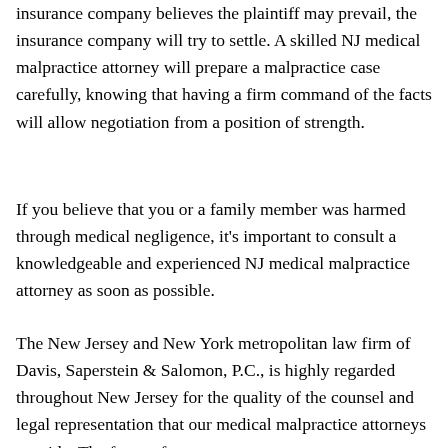insurance company believes the plaintiff may prevail, the insurance company will try to settle. A skilled NJ medical malpractice attorney will prepare a malpractice case carefully, knowing that having a firm command of the facts will allow negotiation from a position of strength.
If you believe that you or a family member was harmed through medical negligence, it's important to consult a knowledgeable and experienced NJ medical malpractice attorney as soon as possible.
The New Jersey and New York metropolitan law firm of Davis, Saperstein & Salomon, P.C., is highly regarded throughout New Jersey for the quality of the counsel and legal representation that our medical malpractice attorneys provide. The focus of our